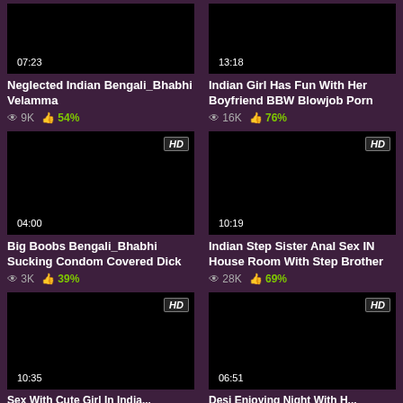[Figure (screenshot): Video thumbnail black screen with duration 07:23]
Neglected Indian Bengali_Bhabhi Velamma
9K views 54% likes
[Figure (screenshot): Video thumbnail black screen with duration 13:18]
Indian Girl Has Fun With Her Boyfriend BBW Blowjob Porn
16K views 76% likes
[Figure (screenshot): HD video thumbnail black screen with duration 04:00]
Big Boobs Bengali_Bhabhi Sucking Condom Covered Dick
3K views 39% likes
[Figure (screenshot): HD video thumbnail black screen with duration 10:19]
Indian Step Sister Anal Sex IN House Room With Step Brother
28K views 69% likes
[Figure (screenshot): HD video thumbnail black screen with duration 10:35]
[Figure (screenshot): HD video thumbnail black screen with duration 06:51]